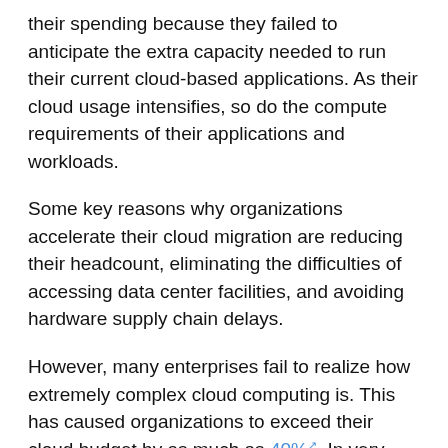their spending because they failed to anticipate the extra capacity needed to run their current cloud-based applications. As their cloud usage intensifies, so do the compute requirements of their applications and workloads.
Some key reasons why organizations accelerate their cloud migration are reducing their headcount, eliminating the difficulties of accessing data center facilities, and avoiding hardware supply chain delays.
However, many enterprises fail to realize how extremely complex cloud computing is. This has caused organizations to exceed their cloud budget by as much as 40%. In very extreme cases, enterprises that can't handle the challenges of cloud computing are forced to repatriate workloads and applications to their previous settings.
Adding to the cloud's complexity is the daunting number of application stack choices. Enterprises not only struggle to pick the right cloud vendor and the ideal application stack to